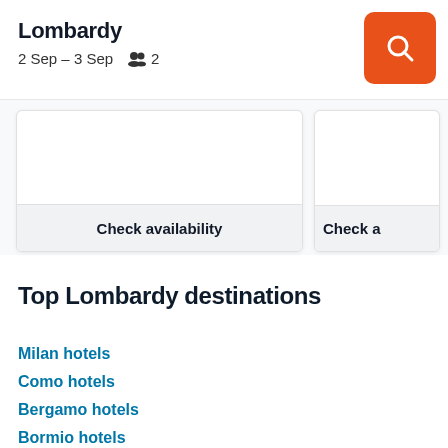Lombardy
2 Sep – 3 Sep   2
[Figure (screenshot): Hotel listing cards with Check availability buttons, partially cropped]
Top Lombardy destinations
Milan hotels
Como hotels
Bergamo hotels
Bormio hotels